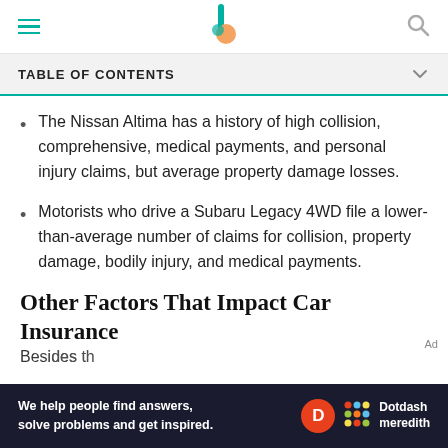TABLE OF CONTENTS
The Nissan Altima has a history of high collision, comprehensive, medical payments, and personal injury claims, but average property damage losses.
Motorists who drive a Subaru Legacy 4WD file a lower-than-average number of claims for collision, property damage, bodily injury, and medical payments.
Other Factors That Impact Car Insurance